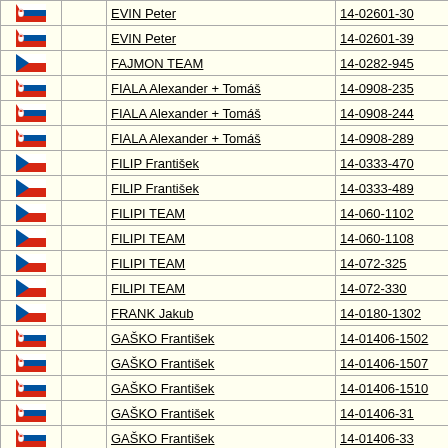| Flag |  | Name | Code |
| --- | --- | --- | --- |
| SK |  | EVIN Peter | 14-02601-30 |
| SK |  | EVIN Peter | 14-02601-39 |
| CZ |  | FAJMON TEAM | 14-0282-945 |
| SK |  | FIALA Alexander + Tomáš | 14-0908-235 |
| SK |  | FIALA Alexander + Tomáš | 14-0908-244 |
| SK |  | FIALA Alexander + Tomáš | 14-0908-289 |
| CZ |  | FILIP František | 14-0333-470 |
| CZ |  | FILIP František | 14-0333-489 |
| CZ |  | FILIPI TEAM | 14-060-1102 |
| CZ |  | FILIPI TEAM | 14-060-1108 |
| CZ |  | FILIPI TEAM | 14-072-325 |
| CZ |  | FILIPI TEAM | 14-072-330 |
| CZ |  | FRANK Jakub | 14-0180-1302 |
| SK |  | GAŠKO František | 14-01406-1502 |
| SK |  | GAŠKO František | 14-01406-1507 |
| SK |  | GAŠKO František | 14-01406-1510 |
| SK |  | GAŠKO František | 14-01406-31 |
| SK |  | GAŠKO František | 14-01406-33 |
| SK |  | GÉZA Vincze | 14-03608-455 |